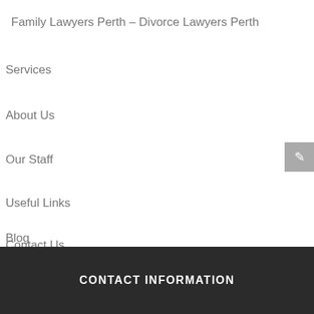Family Lawyers Perth – Divorce Lawyers Perth
Services
About Us
Our Staff
Useful Links
Blog
Contact Us
CONTACT INFORMATION